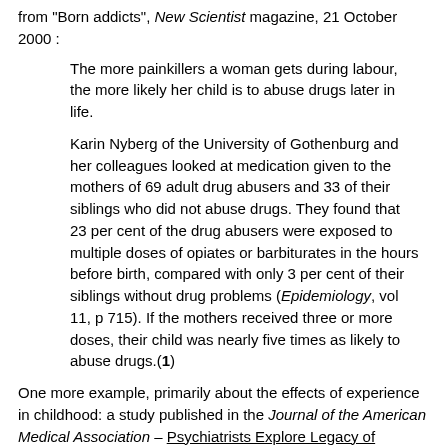from "Born addicts", New Scientist magazine, 21 October 2000 :
The more painkillers a woman gets during labour, the more likely her child is to abuse drugs later in life.
Karin Nyberg of the University of Gothenburg and her colleagues looked at medication given to the mothers of 69 adult drug abusers and 33 of their siblings who did not abuse drugs. They found that 23 per cent of the drug abusers were exposed to multiple doses of opiates or barbiturates in the hours before birth, compared with only 3 per cent of their siblings without drug problems (Epidemiology, vol 11, p 715). If the mothers received three or more doses, their child was nearly five times as likely to abuse drugs.(1)
One more example, primarily about the effects of experience in childhood: a study published in the Journal of the American Medical Association – Psychiatrists Explore Legacy of Traumatic Stress in Early Life [18], August 1, 2001 – found that "More than 50 studies show that repeated physical or sexual abuse has numerous